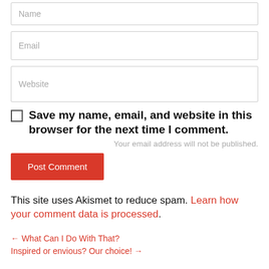Name
Email
Website
Save my name, email, and website in this browser for the next time I comment.
Your email address will not be published.
Post Comment
This site uses Akismet to reduce spam. Learn how your comment data is processed.
← What Can I Do With That?
Inspired or envious? Our choice! →